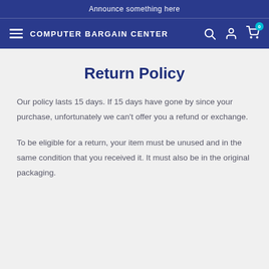Announce something here
COMPUTER BARGAIN CENTER
Return Policy
Our policy lasts 15 days. If 15 days have gone by since your purchase, unfortunately we can't offer you a refund or exchange.
To be eligible for a return, your item must be unused and in the same condition that you received it. It must also be in the original packaging.